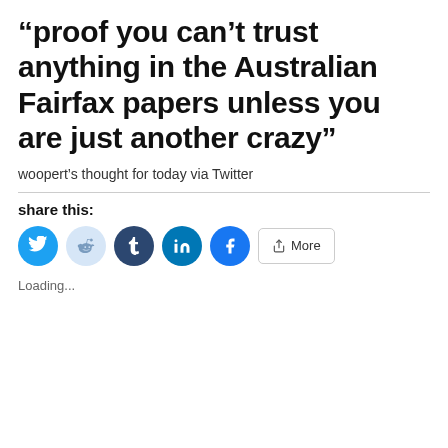“proof you can’t trust anything in the Australian Fairfax papers unless you are just another crazy”
woopert’s thought for today via Twitter
share this:
[Figure (other): Social share buttons: Twitter, Reddit, Tumblr, LinkedIn, Facebook, and More]
Loading...